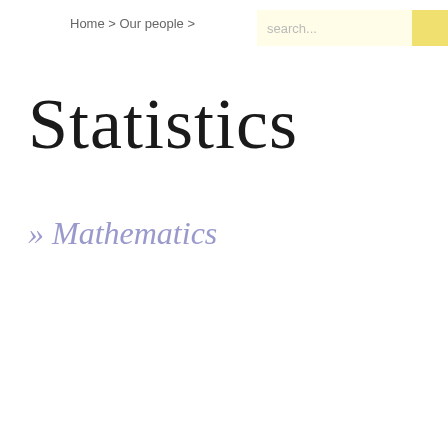Home > Our people >
Statistics
» Mathematics